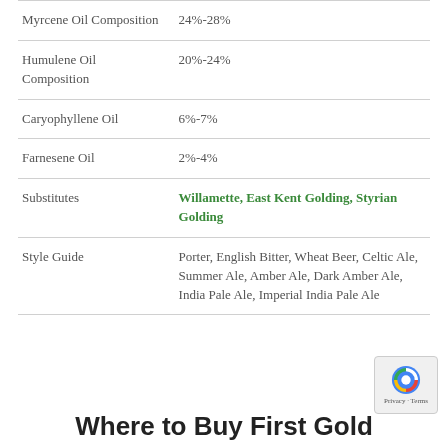| Property | Value |
| --- | --- |
| Myrcene Oil Composition | 24%-28% |
| Humulene Oil Composition | 20%-24% |
| Caryophyllene Oil | 6%-7% |
| Farnesene Oil | 2%-4% |
| Substitutes | Willamette, East Kent Golding, Styrian Golding |
| Style Guide | Porter, English Bitter, Wheat Beer, Celtic Ale, Summer Ale, Amber Ale, Dark Amber Ale, India Pale Ale, Imperial India Pale Ale |
Where to Buy First Gold